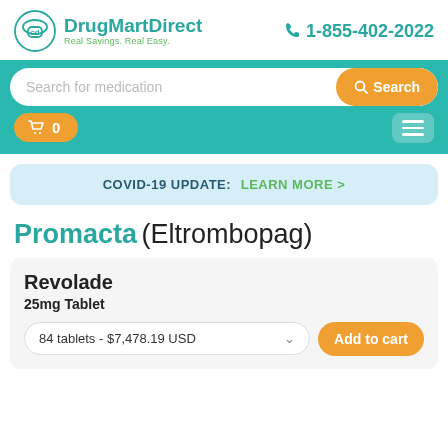[Figure (logo): DrugMartDirect logo with mortar and pestle icon, teal text 'DrugMartDirect', green tagline 'Real Savings. Real Easy.']
1-855-402-2022
Search for medication
Search
0
COVID-19 UPDATE:  LEARN MORE >
Promacta (Eltrombopag)
Revolade
25mg Tablet
84 tablets - $7,478.19 USD
Add to cart